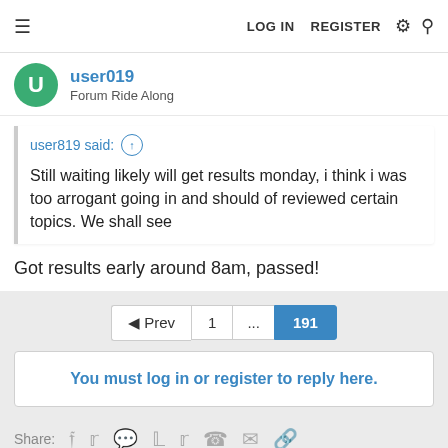LOG IN   REGISTER
user019
Forum Ride Along
user819 said: ↑

Still waiting likely will get results monday, i think i was too arrogant going in and should of reviewed certain topics. We shall see
Got results early around 8am, passed!
◄ Prev  1  ...  191
You must log in or register to reply here.
Share: